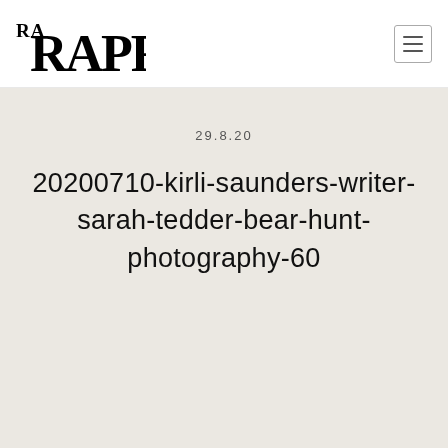[Figure (logo): RARAPR logo in bold serif font, black on white]
29.8.20
20200710-kirli-saunders-writer-sarah-tedder-bear-hunt-photography-60